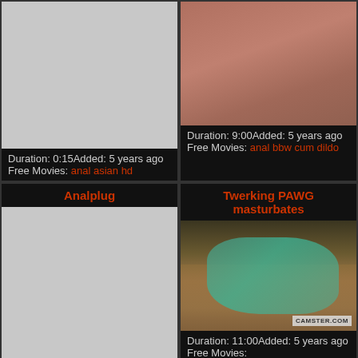[Figure (photo): Gray placeholder thumbnail for video]
Duration: 0:15Added: 5 years ago
Free Movies: anal asian hd
[Figure (photo): Close-up adult content thumbnail]
Duration: 9:00Added: 5 years ago
Free Movies: anal bbw cum dildo
Analplug
[Figure (photo): Gray placeholder thumbnail for video]
Twerking PAWG masturbates
[Figure (photo): Video thumbnail showing person with teal nails, camster.com watermark]
Duration: 11:00Added: 5 years ago
Free Movies: